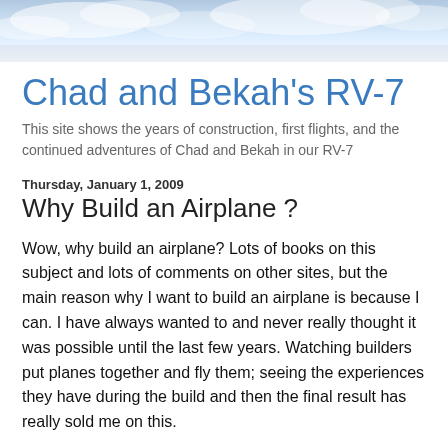[Figure (photo): Sky and clouds background header image]
Chad and Bekah's RV-7
This site shows the years of construction, first flights, and the continued adventures of Chad and Bekah in our RV-7
Thursday, January 1, 2009
Why Build an Airplane ?
Wow, why build an airplane? Lots of books on this subject and lots of comments on other sites, but the main reason why I want to build an airplane is because I can. I have always wanted to and never really thought it was possible until the last few years. Watching builders put planes together and fly them; seeing the experiences they have during the build and then the final result has really sold me on this.
The US is amongst the best countries in the world, and our laws allow us to do something as amazing as this. I really